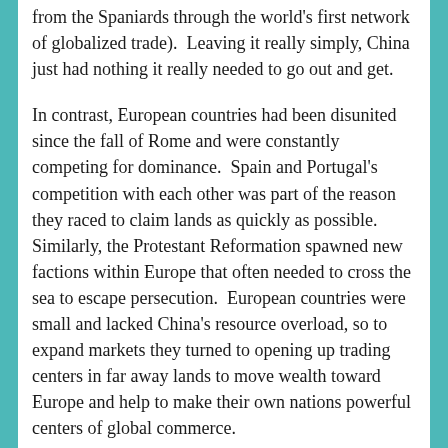from the Spaniards through the world's first network of globalized trade).  Leaving it really simply, China just had nothing it really needed to go out and get.
In contrast, European countries had been disunited since the fall of Rome and were constantly competing for dominance.  Spain and Portugal's competition with each other was part of the reason they raced to claim lands as quickly as possible.  Similarly, the Protestant Reformation spawned new factions within Europe that often needed to cross the sea to escape persecution.  European countries were small and lacked China's resource overload, so to expand markets they turned to opening up trading centers in far away lands to move wealth toward Europe and help to make their own nations powerful centers of global commerce.
So to generalize, in the end, after two giant sections explaining China's power to colonize and a few paragraphs actually answering the topic question, I would say that China's failure to colonize the world stemmed not from its inferiority to European